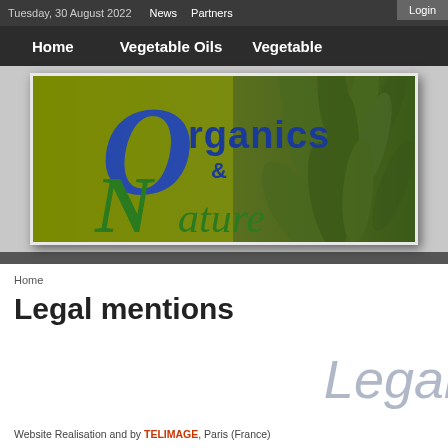Tuesday, 30 August 2022   News   Partners   Login
Home   Vegetable Oils   Vegetable
[Figure (logo): Organics & Nature logo with large decorative 'O' in blue and 'N' in green, on olive/yellow-green background with plant imagery on the right side]
Home
Legal mentions
Legal
Website Realisation and by TELIMAGE, Paris (France)